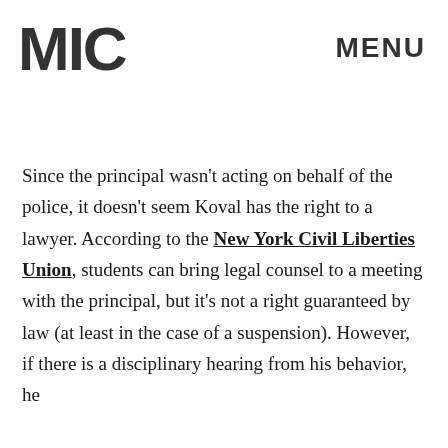MIC   MENU
Since the principal wasn't acting on behalf of the police, it doesn't seem Koval has the right to a lawyer. According to the New York Civil Liberties Union, students can bring legal counsel to a meeting with the principal, but it's not a right guaranteed by law (at least in the case of a suspension). However, if there is a disciplinary hearing from his behavior, he